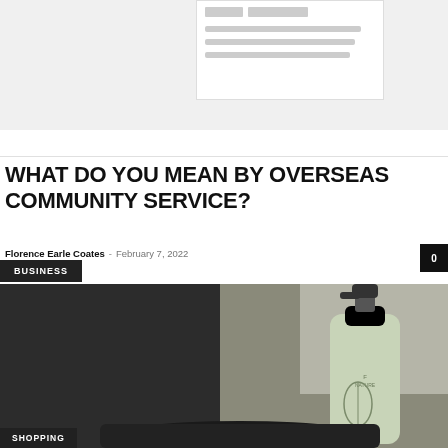[Figure (screenshot): Partial view of a card/widget with grey background, showing a white box with placeholder tab and line elements]
BUSINESS
WHAT DO YOU MEAN BY OVERSEAS COMMUNITY SERVICE?
Florence Earle Coates – February 7, 2022
[Figure (photo): Photo of a light green lotion/soap pump bottle with black pump top, placed on a dark surface against a grey background. A 'SHOPPING' label badge appears in the bottom-left corner.]